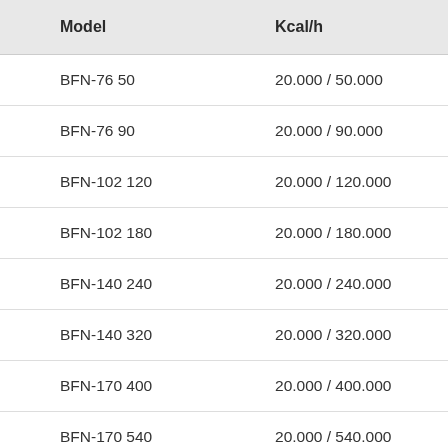| Model | Kcal/h |
| --- | --- |
| BFN-76 50 | 20.000 / 50.000 |
| BFN-76 90 | 20.000 / 90.000 |
| BFN-102 120 | 20.000 / 120.000 |
| BFN-102 180 | 20.000 / 180.000 |
| BFN-140 240 | 20.000 / 240.000 |
| BFN-140 320 | 20.000 / 320.000 |
| BFN-170 400 | 20.000 / 400.000 |
| BFN-170 540 | 20.000 / 540.000 |